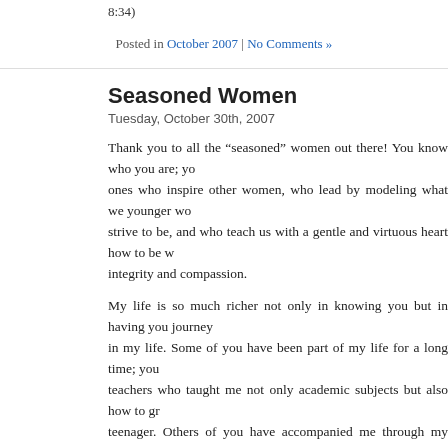8:34)
Posted in October 2007 | No Comments »
Seasoned Women
Tuesday, October 30th, 2007
Thank you to all the “seasoned” women out there! You know who you are; you are the ones who inspire other women, who lead by modeling what we younger women should strive to be, and who teach us with a gentle and virtuous heart how to be women of integrity and compassion.
My life is so much richer not only in knowing you but in having you journey alongside in my life. Some of you have been part of my life for a long time; you were my teachers who taught me not only academic subjects but also how to grow as a teenager. Others of you have accompanied me through my university years and have helped me discover and begin to accept my God-given talents. And there are also some of you whom God has recently brought into my life to now guide me through womanhood.
I am so blessed to hear and receive your words of wisdom, to read your messages of hope, and to see your examples of love. It is a privilege and honour to call you my cherished and respected friends.
For all that you are- and have been- in my life, my pledge to you is the follow...
I promise to live a life of integrity.